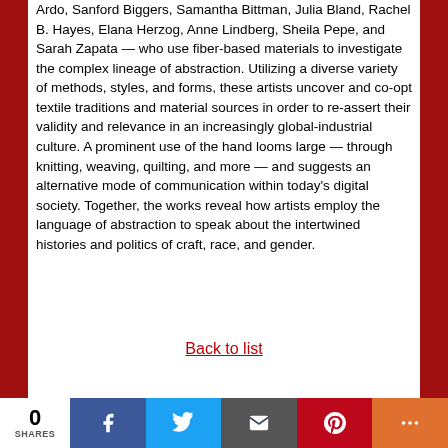Ardo, Sanford Biggers, Samantha Bittman, Julia Bland, Rachel B. Hayes, Elana Herzog, Anne Lindberg, Sheila Pepe, and Sarah Zapata — who use fiber-based materials to investigate the complex lineage of abstraction. Utilizing a diverse variety of methods, styles, and forms, these artists uncover and co-opt textile traditions and material sources in order to re-assert their validity and relevance in an increasingly global-industrial culture. A prominent use of the hand looms large — through knitting, weaving, quilting, and more — and suggests an alternative mode of communication within today's digital society. Together, the works reveal how artists employ the language of abstraction to speak about the intertwined histories and politics of craft, race, and gender.
Back to list
0 SHARES